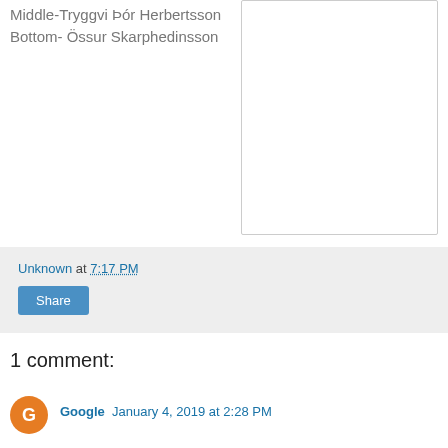Middle-Tryggvi Þór Herbertsson Bottom- Össur Skarphedinsson
[Figure (other): White rectangular box with border on the right side of the page]
Unknown at 7:17 PM
Share
1 comment:
Google January 4, 2019 at 2:28 PM